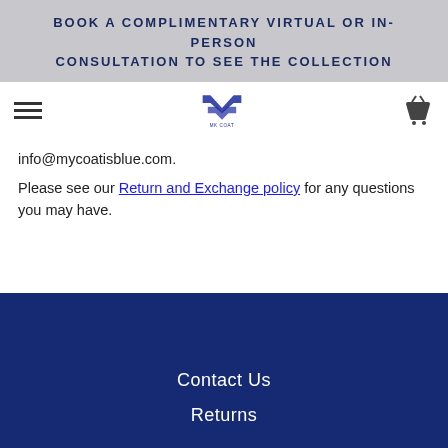BOOK A COMPLIMENTARY VIRTUAL OR IN-PERSON CONSULTATION TO SEE THE COLLECTION
info@mycoatisblue.com.
Please see our Return and Exchange policy for any questions you may have.
Contact Us
Returns